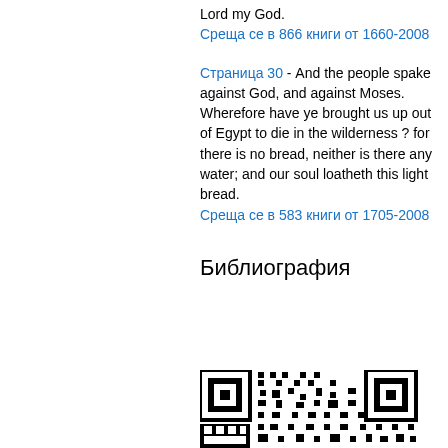Lord my God.
Среща се в 866 книги от 1660-2008
Страница 30 - And the people spake against God, and against Moses. Wherefore have ye brought us up out of Egypt to die in the wilderness ? for there is no bread, neither is there any water; and our soul loatheth this light bread.
Среща се в 583 книги от 1705-2008
Библиография
[Figure (other): QR code]